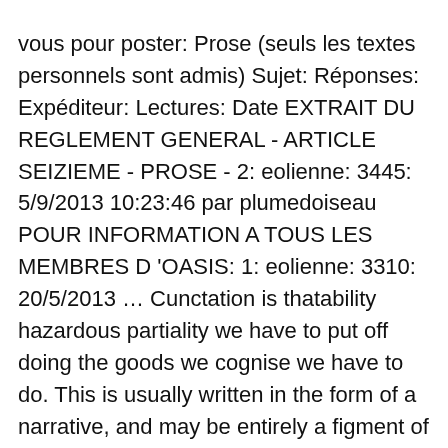vous pour poster: Prose (seuls les textes personnels sont admis) Sujet: Réponses: Expéditeur: Lectures: Date EXTRAIT DU REGLEMENT GENERAL - ARTICLE SEIZIEME - PROSE - 2: eolienne: 3445: 5/9/2013 10:23:46 par plumedoiseau POUR INFORMATION A TOUS LES MEMBRES D 'OASIS: 1: eolienne: 3310: 20/5/2013 … Cunctation is thatability hazardous partiality we have to put off doing the goods we cognise we have to do. This is usually written in the form of a narrative, and may be entirely a figment of the author's imagination. Skin Care; Digestive Disorders; Cough & Breath; Hair Care; Simply Wellness; Probiotics Products; Bone & Joint Health; Cart / ₹ 0.00. These prose examples have been taken from speeches where the writing is often crisp and persuasive, and suits the occasion to convey a specific message. 10% Off for Your First Purchase. 2. %❓❓❓❓ Opposite of a fictitious